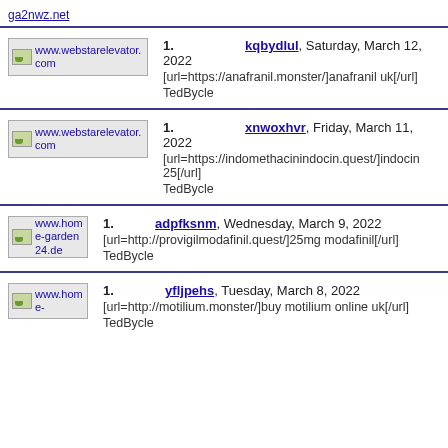kqbydlul, Saturday, March 12, 2022
[url=https://anafranil.monster/]anafranil uk[/url]
TedBycle
xnwoxhvr, Friday, March 11, 2022
[url=https://indomethacinindocin.quest/]indocin 25[/url]
TedBycle
adpfksnm, Wednesday, March 9, 2022
[url=http://provigilmodafinil.quest/]25mg modafinil[/url]
TedBycle
yfljpehs, Tuesday, March 8, 2022
[url=http://motilium.monster/]buy motilium online uk[/url]
TedBycle